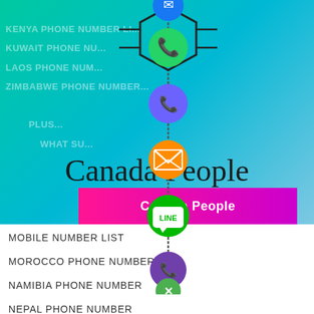[Figure (infographic): Social media app icons (WhatsApp green, Viber blue, email orange, LINE green, Viber purple, close green) arranged vertically with connecting lines forming a chain/flowchart. A hexagon shape is drawn around some icons. Background gradient teal/green.]
Canada People
[Figure (infographic): Pink/magenta banner with text 'Canada People']
MOBILE NUMBER LIST
MOROCCO PHONE NUMBER
NAMIBIA PHONE NUMBER
NEPAL PHONE NUMBER